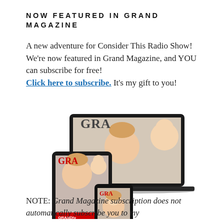NOW FEATURED IN GRAND MAGAZINE
A new adventure for Consider This Radio Show! We're now featured in Grand Magazine, and YOU can subscribe for free! Click here to subscribe. It's my gift to you!
[Figure (illustration): Grand Magazine displayed on a laptop, tablet, and smartphone showing cover with smiling woman and baby]
NOTE: Grand Magazine subscription does not automatically subscribe you to my